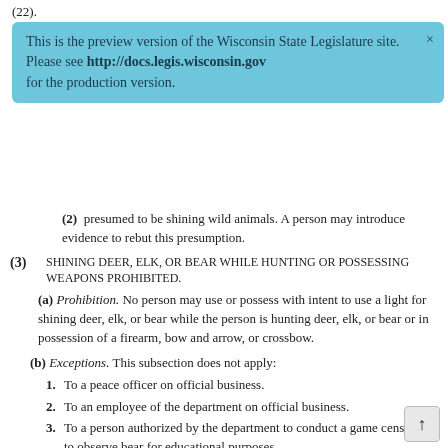(22).
[Figure (infographic): Blue preview banner: 'This is the preview version of the Wisconsin State Legislature site. Please see http://docs.legis.wisconsin.gov for the production version.' with an X close button.]
(2) [partially obscured by banner] presumed to be shining wild animals. A person may introduce evidence to rebut this presumption.
(3) SHINING DEER, ELK, OR BEAR WHILE HUNTING OR POSSESSING WEAPONS PROHIBITED.
(a) Prohibition. No person may use or possess with intent to use a light for shining deer, elk, or bear while the person is hunting deer, elk, or bear or in possession of a firearm, bow and arrow, or crossbow.
(b) Exceptions. This subsection does not apply:
1. To a peace officer on official business.
2. To an employee of the department on official business.
3. To a person authorized by the department to conduct a game census or to observe bear for educational purposes.
4. To the holder of a Class C permit issued under s. 29.193 (2) (c) 4. who uses a laser sighting device while hunting with a firearm, bow and arrow, or crossbow.
(4) SHINING WILD ANIMALS WHILE HUNTING OR POSSESSING WEAPONS